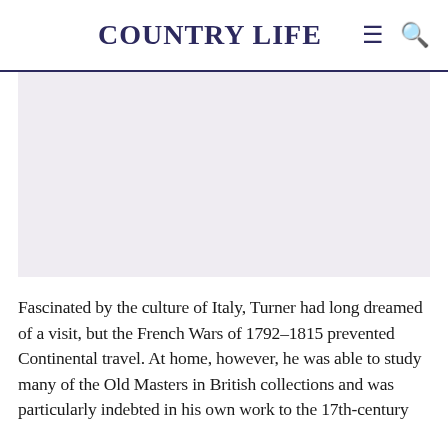COUNTRY LIFE
[Figure (photo): Image placeholder with light grey background, representing an article image for a Country Life article about Turner.]
Fascinated by the culture of Italy, Turner had long dreamed of a visit, but the French Wars of 1792–1815 prevented Continental travel. At home, however, he was able to study many of the Old Masters in British collections and was particularly indebted in his own work to the 17th-century